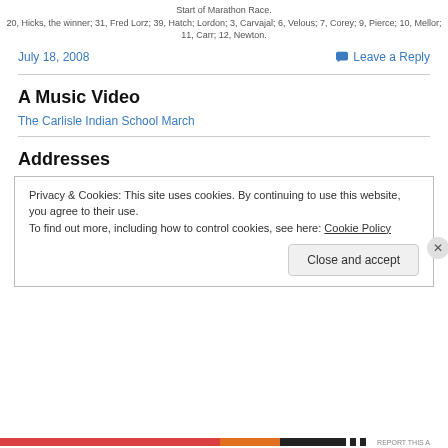Start of Marathon Race.
20, Hicks, the winner; 31, Fred Lorz; 39, Hatch; Lordon; 3, Carvajal; 6, Velous; 7, Corey; 9, Pierce; 10, Mellor; 11, Carr; 12, Newton.
July 18, 2008
Leave a Reply
A Music Video
The Carlisle Indian School March
Addresses
Privacy & Cookies: This site uses cookies. By continuing to use this website, you agree to their use.
To find out more, including how to control cookies, see here: Cookie Policy
Close and accept